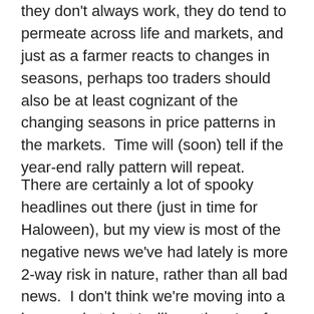they don't always work, they do tend to permeate across life and markets, and just as a farmer reacts to changes in seasons, perhaps too traders should also be at least cognizant of the changing seasons in price patterns in the markets.  Time will (soon) tell if the year-end rally pattern will repeat.
There are certainly a lot of spooky headlines out there (just in time for Haloween), but my view is most of the negative news we've had lately is more 2-way risk in nature, rather than all bad news.  I don't think we're moving into a bear market, but I will say there's a few key charts and indicators that I am watching closer than ever right now!